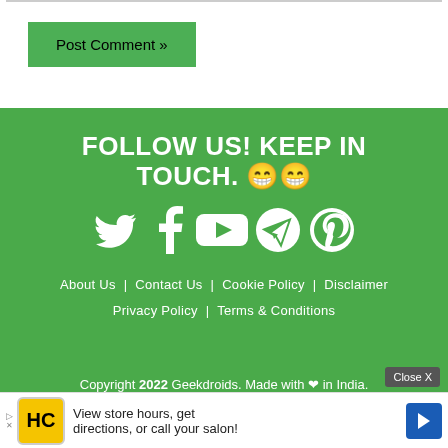[Figure (screenshot): Top white section with a gray top border line and a green 'Post Comment »' button]
FOLLOW US! KEEP IN TOUCH. 😁😁
[Figure (infographic): Social media icons: Twitter, Facebook, YouTube, Telegram, Pinterest — all white on green background]
About Us  |  Contact Us  |  Cookie Policy  |  Disclaimer  |  Privacy Policy  |  Terms & Conditions
Copyright 2022 Geekdroids. Made with ❤ in India.
[Figure (screenshot): Advertisement banner: Close X button, HC logo, 'View store hours, get directions, or call your salon!' text, blue arrow icon, ad disclaimer]